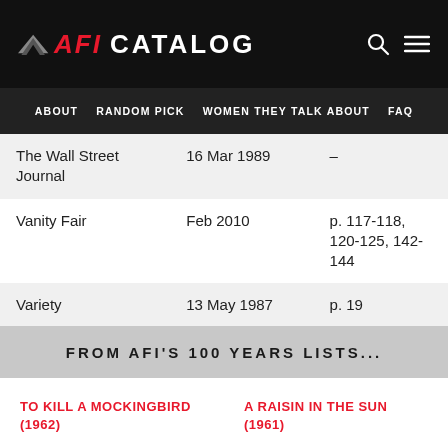AFI CATALOG
ABOUT   RANDOM PICK   WOMEN THEY TALK ABOUT   FAQ
| The Wall Street Journal | 16 Mar 1989 | – |
| Vanity Fair | Feb 2010 | p. 117-118, 120-125, 142-144 |
| Variety | 13 May 1987 | p. 19 |
FROM AFI'S 100 YEARS LISTS...
TO KILL A MOCKINGBIRD (1962)
A RAISIN IN THE SUN (1961)